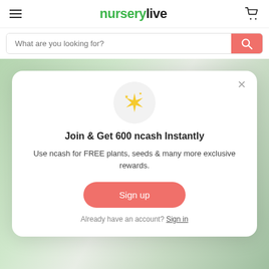nurserylive
What are you looking for?
[Figure (screenshot): Blurred background showing indoor plants in a store or nursery setting]
Join & Get 600 ncash Instantly
Use ncash for FREE plants, seeds & many more exclusive rewards.
Sign up
Already have an account? Sign in